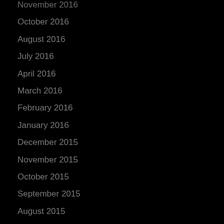November 2016
October 2016
August 2016
July 2016
April 2016
March 2016
February 2016
January 2016
December 2015
November 2015
October 2015
September 2015
August 2015
July 2015
June 2015
April 2015
March 2015